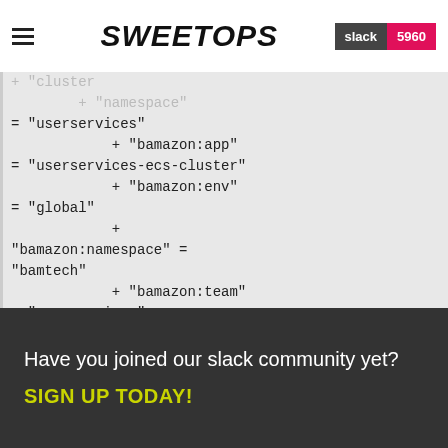SweetOps | slack 5960
= "userservices"
            + "bamazon:app"
= "userservices-ecs-cluster"
            + "bamazon:env"
= "global"
            +
"bamazon:namespace" =
"bamtech"
            + "bamazon:team"
= "userservices"
        }
        # (5 unchanged
attributes hidden)
    }
Unless you have made
equivalent changes to your
configuration, or ignored
Have you joined our slack community yet?
SIGN UP TODAY!